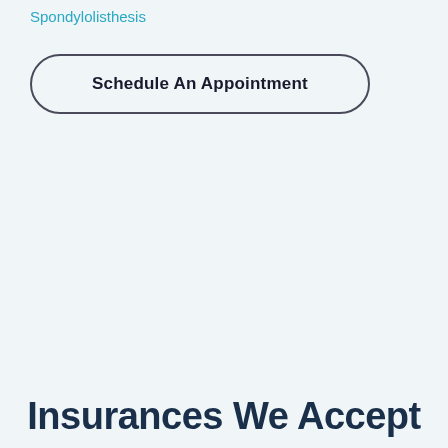Spondylolisthesis
Schedule An Appointment
Insurances We Accept